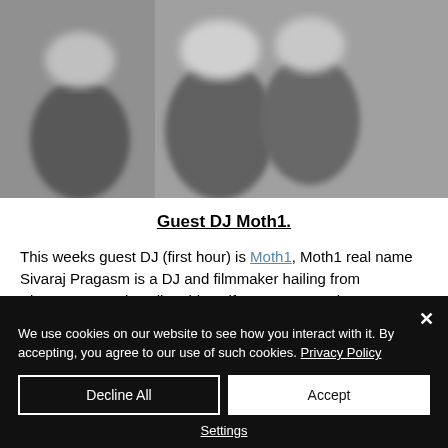[Figure (photo): Blurred black and white photo of two people, partially cropped at top]
Guest DJ Moth1.
This weeks guest DJ (first hour) is Moth1, Moth1 real name Sivaraj Pragasm is a DJ and filmmaker hailing from Singapore. He describes himself as someone who puts sounds together to create other sounds.
We use cookies on our website to see how you interact with it. By accepting, you agree to our use of such cookies. Privacy Policy
Decline All
Accept
Settings